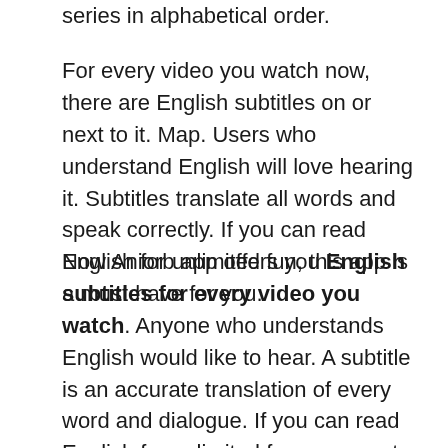series in alphabetical order.
For every video you watch now, there are English subtitles on or next to it. Map. Users who understand English will love hearing it. Subtitles translate all words and speak correctly. If you can read English for unlimited fun, this app is a must-have for you.
Now Aniorb app offers you English subtitles for every video you watch. Anyone who understands English would like to hear. A subtitle is an accurate translation of every word and dialogue. If you can read English for unlimited fun, you must try this app.